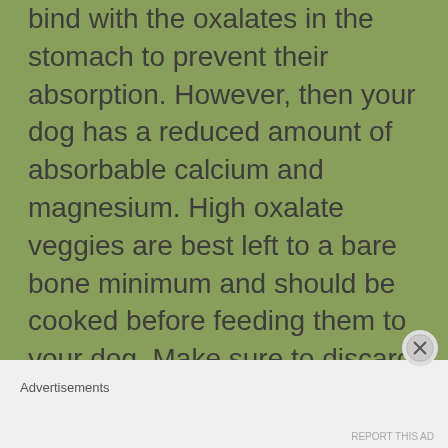bind with the oxalates in the stomach to prevent their absorption. However, then your dog has a reduced amount of absorbable calcium and magnesium. High oxalate veggies are best left to a bare bone minimum and should be cooked before feeding them to your dog. Make sure to discard the cooking water.
Advertisements